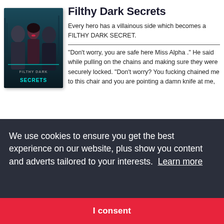[Figure (illustration): Book cover for 'Filthy Dark Secrets' showing two men and a woman in a dark teal/noir style setting with the title in glowing teal text]
Filthy Dark Secrets
Every hero has a villainous side which becomes a FILTHY DARK SECRET.
"Don't worry, you are safe here Miss Alpha ." He said while pulling on the chains and making sure they were securely locked. "Don't worry? You fucking chained me to this chair and you are pointing a damn knife at me,
We use cookies to ensure you get the best experience on our website, plus show you content and adverts tailored to your interests.  Learn more
I consent